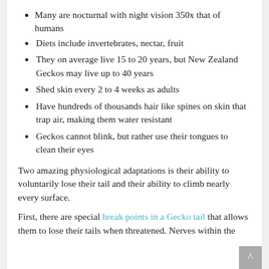Many are nocturnal with night vision 350x that of humans
Diets include invertebrates, nectar, fruit
They on average live 15 to 20 years, but New Zealand Geckos may live up to 40 years
Shed skin every 2 to 4 weeks as adults
Have hundreds of thousands hair like spines on skin that trap air, making them water resistant
Geckos cannot blink, but rather use their tongues to clean their eyes
Two amazing physiological adaptations is their ability to voluntarily lose their tail and their ability to climb nearly every surface.
First, there are special break points in a Gecko tail that allows them to lose their tails when threatened. Nerves within the